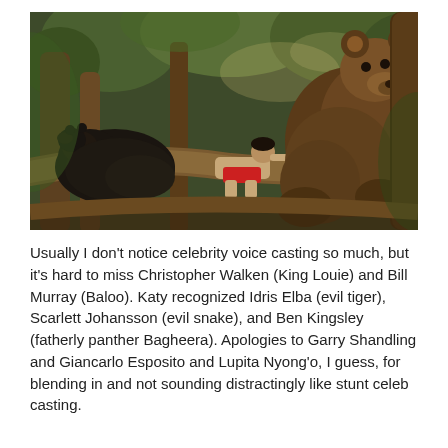[Figure (photo): Movie still from The Jungle Book showing two bears and a boy (Mowgli) resting on large tree branches in a forest setting. A dark bear is on the left, a large brown bear is on the upper right, and the boy in red shorts lies on a log in the middle.]
Usually I don't notice celebrity voice casting so much, but it's hard to miss Christopher Walken (King Louie) and Bill Murray (Baloo). Katy recognized Idris Elba (evil tiger), Scarlett Johansson (evil snake), and Ben Kingsley (fatherly panther Bagheera). Apologies to Garry Shandling and Giancarlo Esposito and Lupita Nyong'o, I guess, for blending in and not sounding distractingly like stunt celeb casting.